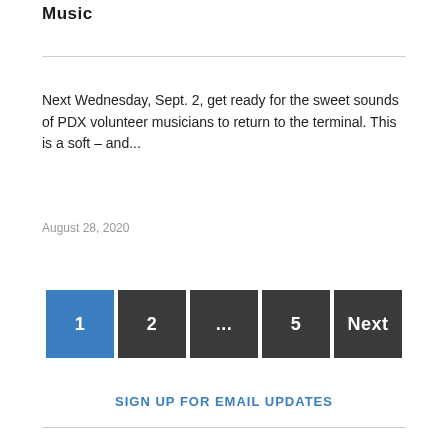Music
Next Wednesday, Sept. 2, get ready for the sweet sounds of PDX volunteer musicians to return to the terminal. This is a soft – and...
August 28, 2020
1 2 ... 5 Next
SIGN UP FOR EMAIL UPDATES